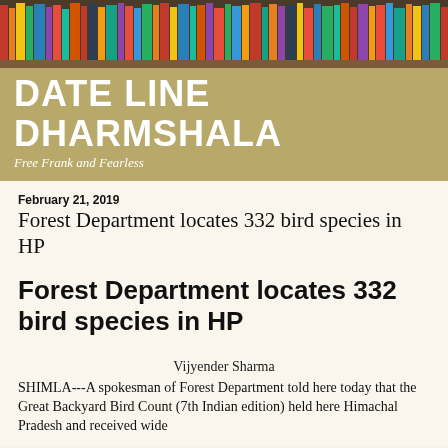[Figure (photo): Colorful bookshelf image used as header background]
DATE LINE DHARMSHALA
Free Frank and Fearless
February 21, 2019
Forest Department locates 332 bird species in HP
Forest Department locates 332 bird species in HP
Vijyender Sharma
SHIMLA---A spokesman of Forest Department told here today that the Great Backyard Bird Count (7th Indian edition) held here Himachal Pradesh and received wide